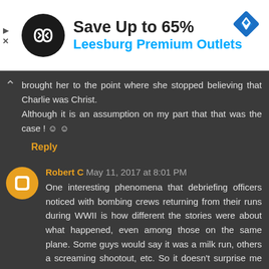[Figure (screenshot): Advertisement banner for Leesburg Premium Outlets showing logo, 'Save Up to 65%' text, and a blue diamond navigation icon]
brought her to the point where she stopped believing that Charlie was Christ. Although it is an assumption on my part that that was the case ! 🙂 🙂
Reply
Robert C May 11, 2017 at 8:01 PM
One interesting phenomena that debriefing officers noticed with bombing crews returning from their runs during WWII is how different the stories were about what happened, even among those on the same plane. Some guys would say it was a milk run, others a screaming shootout, etc. So it doesn't surprise me at all that there are honest differences in what was remembered plus some expected less self-incriminating tidbits as well. For me the real importance is how ball park close they are when grouped